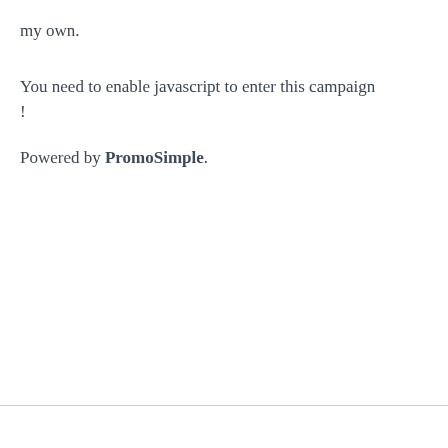my own.
You need to enable javascript to enter this campaign !
Powered by PromoSimple.